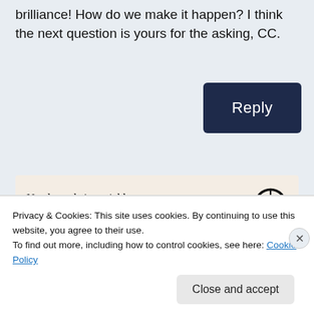brilliance! How do we make it happen? I think the next question is yours for the asking, CC.
[Figure (other): Reply button - dark navy blue rounded rectangle button with white text 'Reply']
[Figure (other): Advertisement banner with beige background. Text: 'Need a website quickly – and on a budget?' with WordPress logo on the right.]
REPORT THIS AD
Privacy & Cookies: This site uses cookies. By continuing to use this website, you agree to their use.
To find out more, including how to control cookies, see here: Cookie Policy
Close and accept